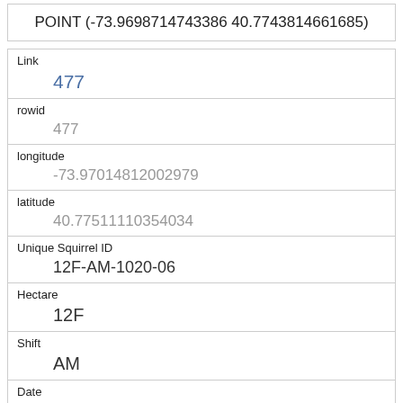POINT (-73.9698714743386 40.7743814661685)
| Field | Value |
| --- | --- |
| Link | 477 |
| rowid | 477 |
| longitude | -73.97014812002979 |
| latitude | 40.77511110354034 |
| Unique Squirrel ID | 12F-AM-1020-06 |
| Hectare | 12F |
| Shift | AM |
| Date | 10202018 |
| Hectare Squirrel Number | 6 |
| Age |  |